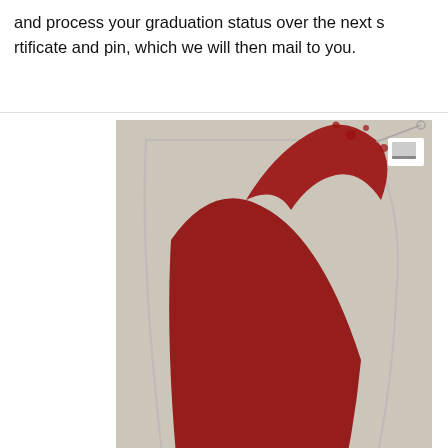and process your graduation status over the next s rtificate and pin, which we will then mail to you.
[Figure (photo): A wine glass tilted with red wine splashing out of it, next to a beige/gold behind-the-ear hearing aid device with an ear tip, on a light background. A small square icon is visible in the upper right corner of the image.]
[Figure (photo): Partial view of another image at the bottom showing what appears to be a hearing aid and a person's ear, with a small square icon in the upper right.]